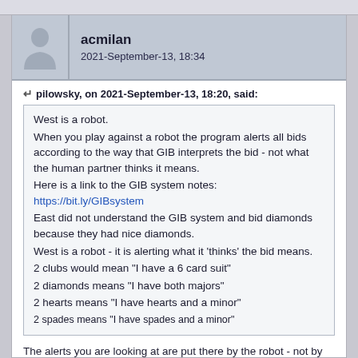acmilan
2021-September-13, 18:34
pilowsky, on 2021-September-13, 18:20, said:
West is a robot.
When you play against a robot the program alerts all bids according to the way that GIB interprets the bid - not what the human partner thinks it means.
Here is a link to the GIB system notes: https://bit.ly/GIBsystem
East did not understand the GIB system and bid diamonds because they had nice diamonds.
West is a robot - it is alerting what it 'thinks' the bid means.
2 clubs would mean "I have a 6 card suit"
2 diamonds means "I have both majors"
2 hearts means "I have hearts and a minor"
2 spades means "I have spades and a minor"
The alerts you are looking at are put there by the robot - not by the player.